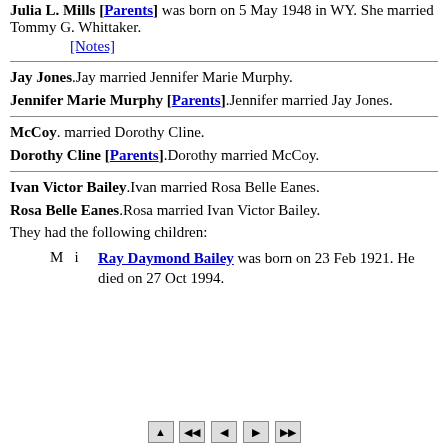Julia L. Mills [Parents] was born on 5 May 1948 in WY. She married Tommy G. Whittaker.
[Notes]
Jay Jones. Jay married Jennifer Marie Murphy.
Jennifer Marie Murphy [Parents]. Jennifer married Jay Jones.
McCoy. married Dorothy Cline.
Dorothy Cline [Parents]. Dorothy married McCoy.
Ivan Victor Bailey. Ivan married Rosa Belle Eanes.
Rosa Belle Eanes. Rosa married Ivan Victor Bailey.
They had the following children:
M  i  Ray Daymond Bailey was born on 23 Feb 1921. He died on 27 Oct 1994.
[Figure (other): Navigation bar with up, first, previous, next, last buttons]